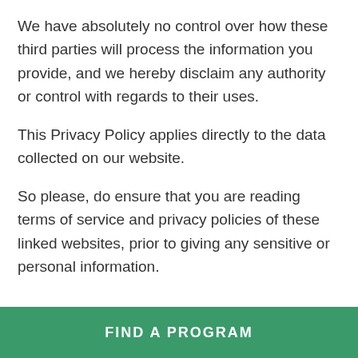We have absolutely no control over how these third parties will process the information you provide, and we hereby disclaim any authority or control with regards to their uses.
This Privacy Policy applies directly to the data collected on our website.
So please, do ensure that you are reading terms of service and privacy policies of these linked websites, prior to giving any sensitive or personal information.
FIND A PROGRAM